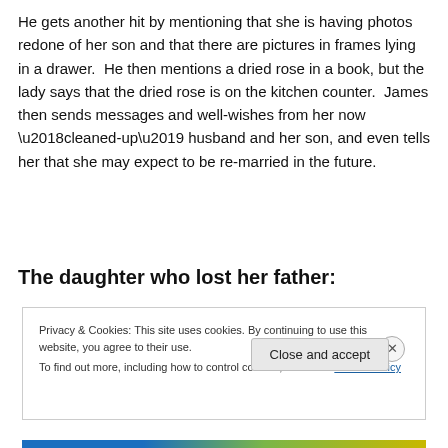He gets another hit by mentioning that she is having photos redone of her son and that there are pictures in frames lying in a drawer.  He then mentions a dried rose in a book, but the lady says that the dried rose is on the kitchen counter.  James then sends messages and well-wishes from her now ‘cleaned-up’ husband and her son, and even tells her that she may expect to be re-married in the future.
The daughter who lost her father:
Privacy & Cookies: This site uses cookies. By continuing to use this website, you agree to their use.
To find out more, including how to control cookies, see here: Cookie Policy